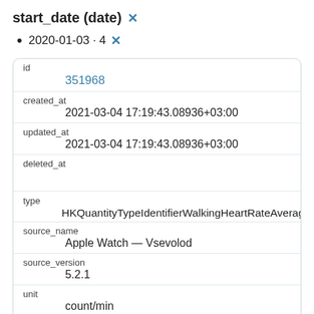start_date (date) ✕
2020-01-03 · 4 ✕
| field | value |
| --- | --- |
| id | 351968 |
| created_at | 2021-03-04 17:19:43.08936+03:00 |
| updated_at | 2021-03-04 17:19:43.08936+03:00 |
| deleted_at |  |
| type | HKQuantityTypeIdentifierWalkingHeartRateAverage |
| source_name | Apple Watch — Vsevolod |
| source_version | 5.2.1 |
| unit | count/min |
| creation_date |  |